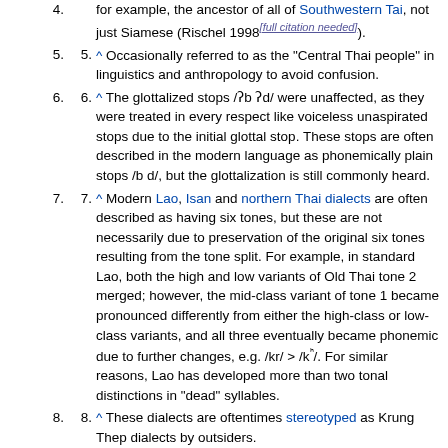(continuation) for example, the ancestor of all of Southwestern Tai, not just Siamese (Rischel 1998[full citation needed]).
5. ^ Occasionally referred to as the "Central Thai people" in linguistics and anthropology to avoid confusion.
6. ^ The glottalized stops /ʔb ʔd/ were unaffected, as they were treated in every respect like voiceless unaspirated stops due to the initial glottal stop. These stops are often described in the modern language as phonemically plain stops /b d/, but the glottalization is still commonly heard.
7. ^ Modern Lao, Isan and northern Thai dialects are often described as having six tones, but these are not necessarily due to preservation of the original six tones resulting from the tone split. For example, in standard Lao, both the high and low variants of Old Thai tone 2 merged; however, the mid-class variant of tone 1 became pronounced differently from either the high-class or low-class variants, and all three eventually became phonemic due to further changes, e.g. /kr/ > /kʰ/. For similar reasons, Lao has developed more than two tonal distinctions in "dead" syllables.
8. ^ These dialects are oftentimes stereotyped as Krung Thep dialects by outsiders.
9. ^ Don't be confused with the Khon Kaen dialect, which means the standard Isan language.
10. ^ Leang Ka Luang (Southern Thai: ภาษาไทยใต้, literally: Bureaucrat speech), colloquial term which referring to the